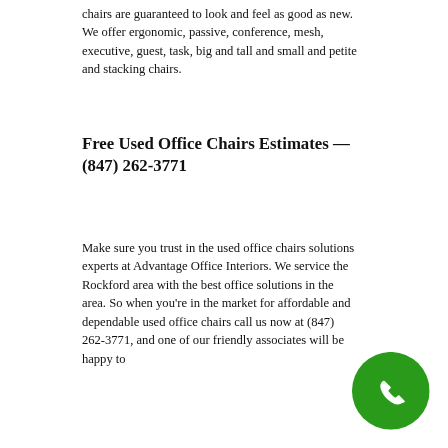chairs are guaranteed to look and feel as good as new. We offer ergonomic, passive, conference, mesh, executive, guest, task, big and tall and small and petite and stacking chairs.
Free Used Office Chairs Estimates — (847) 262-3771
Make sure you trust in the used office chairs solutions experts at Advantage Office Interiors. We service the Rockford area with the best office solutions in the area. So when you're in the market for affordable and dependable used office chairs call us now at (847) 262-3771, and one of our friendly associates will be happy to
[Figure (illustration): Green circular button with white phone handset icon]